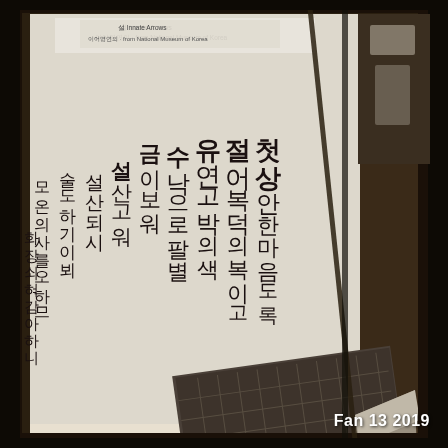[Figure (photo): Museum display case photograph showing a metal printing block with Hangul text (Korean script) engraved on it, displayed on a wooden stand inside a glass case. The background shows a white exhibition panel with vertical Korean text written in calligraphy style. A label plaque is visible at the bottom of the display. The image was taken at the National Museum of Korea. Text visible on the panel includes Korean characters. A diagonal glass reflection line crosses the image.]
Fan 13 2019